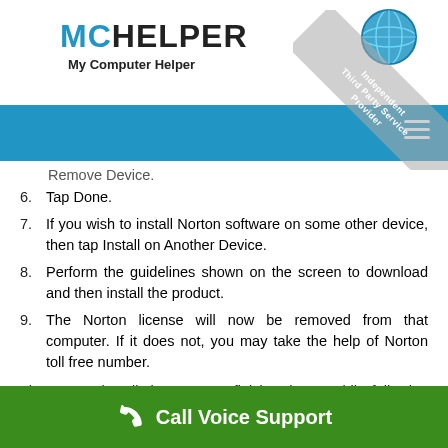[Figure (logo): MCHelper My Computer Helper logo with globe icon and Independent Third Party Service Provider watermark ribbon]
Remove Device.
6. Tap Done.
7. If you wish to install Norton software on some other device, then tap Install on Another Device.
8. Perform the guidelines shown on the screen to download and then install the product.
9. The Norton license will now be removed from that computer. If it does not, you may take the help of Norton toll free number.
The Norton installation process finishes here. While following the procedure, given above, if you stuck in some trouble, then
[Figure (infographic): Green call-to-action bar with phone icon and 'Call Voice Support' text]